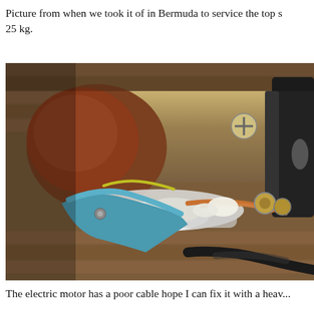Picture from when we took it of in Bermuda to service the top s... 25 kg.
[Figure (photo): Close-up photograph of a corroded electric motor showing damaged wiring with exposed blue, orange/copper, and black cables, corroded metal housing, bolts, and deteriorated wire insulation. The motor is sitting on what appears to be a wooden deck surface.]
The electric motor has a poor cable hope I can fix it with a heav...